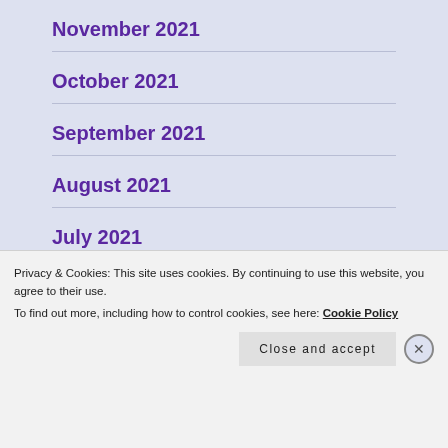November 2021
October 2021
September 2021
August 2021
July 2021
June 2021
Privacy & Cookies: This site uses cookies. By continuing to use this website, you agree to their use.
To find out more, including how to control cookies, see here: Cookie Policy
Close and accept